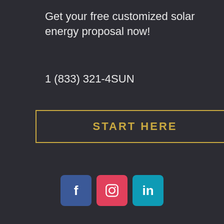Get your free customized solar energy proposal now!
1 (833) 321-4SUN
START HERE
[Figure (infographic): Three square social media icons: Facebook (dark blue), Instagram (pink/red), LinkedIn (teal)]
[Figure (infographic): Three circular social media icons: Facebook (blue), Twitter (cyan), Google+ (red-orange), and a blue rounded button 'Book a 15-minute intake call!']